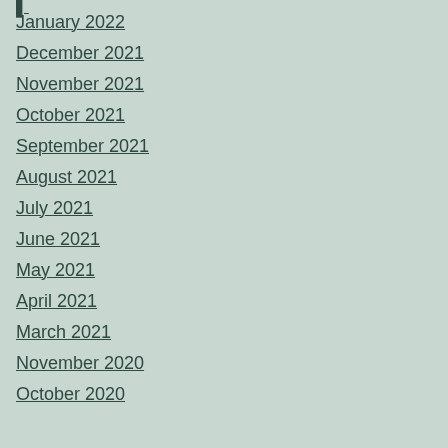January 2022
December 2021
November 2021
October 2021
September 2021
August 2021
July 2021
June 2021
May 2021
April 2021
March 2021
November 2020
October 2020